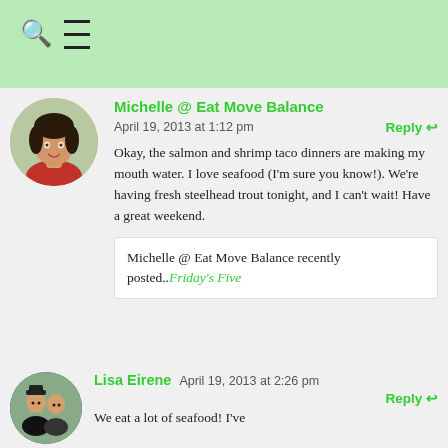Search and menu navigation bar
Michelle @ Eat Move Balance
April 19, 2013 at 1:12 pm
Reply
Okay, the salmon and shrimp taco dinners are making my mouth water. I love seafood (I’m sure you know!). We’re having fresh steelhead trout tonight, and I can’t wait! Have a great weekend.
Michelle @ Eat Move Balance recently posted..Friday’s Five
Lisa Eirene  April 19, 2013 at 2:26 pm
Reply
We eat a lot of seafood! I’ve